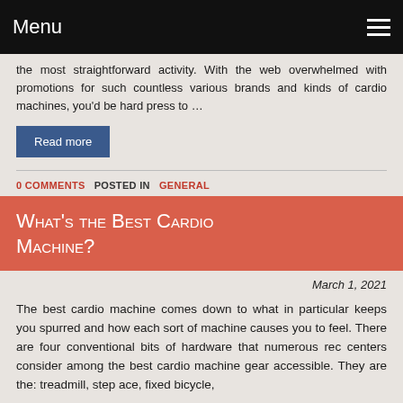Menu
the most straightforward activity. With the web overwhelmed with promotions for such countless various brands and kinds of cardio machines, you'd be hard press to …
Read more
0 COMMENTS   POSTED IN GENERAL
What's the Best Cardio Machine?
March 1, 2021
The best cardio machine comes down to what in particular keeps you spurred and how each sort of machine causes you to feel. There are four conventional bits of hardware that numerous rec centers consider among the best cardio machine gear accessible. They are the: treadmill, step ace, fixed bicycle,